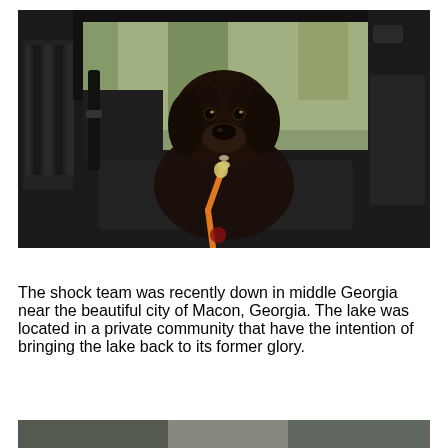[Figure (photo): A dark brown/black curly-haired dog sitting inside a vehicle (UTV/side-by-side), wearing an orange leash/harness. The dog is looking directly at the camera. Trees are visible in the background through the vehicle's frame.]
The shock team was recently down in middle Georgia near the beautiful city of Macon, Georgia. The lake was located in a private community that have the intention of bringing the lake back to its former glory.
[Figure (photo): Partially visible photo at the bottom of the page, appears to be another outdoor/landscape scene.]